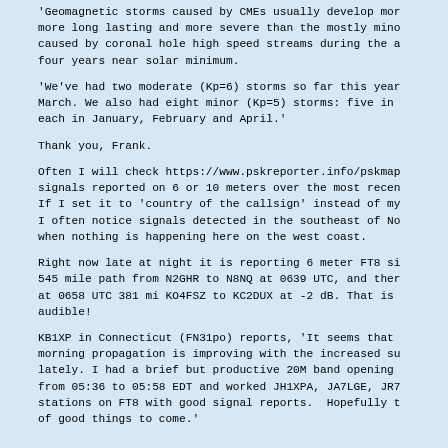'Geomagnetic storms caused by CMEs usually develop mor more long lasting and more severe than the mostly mino caused by coronal hole high speed streams during the a four years near solar minimum.
'We've had two moderate (Kp=6) storms so far this year March. We also had eight minor (Kp=5) storms: five in each in January, February and April.'
Thank you, Frank.
Often I will check https://www.pskreporter.info/pskmap signals reported on 6 or 10 meters over the most recen If I set it to 'country of the callsign' instead of my I often notice signals detected in the southeast of No when nothing is happening here on the west coast.
Right now late at night it is reporting 6 meter FT8 si 545 mile path from N2GHR to N8NQ at 0639 UTC, and ther at 0658 UTC 381 mi KO4FSZ to KC2DUX at -2 dB. That is audible!
KB1XP in Connecticut (FN31po) reports, 'It seems that morning propagation is improving with the increased su lately. I had a brief but productive 20M band opening from 05:36 to 05:58 EDT and worked JH1XPA, JA7LGE, JR7 stations on FT8 with good signal reports.  Hopefully t of good things to come.'